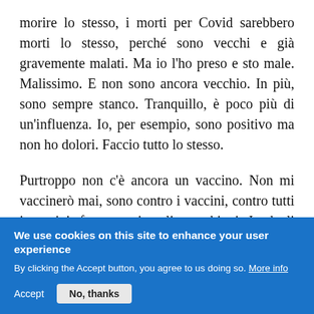morire lo stesso, i morti per Covid sarebbero morti lo stesso, perché sono vecchi e già gravemente malati. Ma io l'ho preso e sto male. Malissimo. E non sono ancora vecchio. In più, sono sempre stanco. Tranquillo, è poco più di un'influenza. Io, per esempio, sono positivo ma non ho dolori. Faccio tutto lo stesso.
Purtroppo non c'è ancora un vaccino. Non mi vaccinerò mai, sono contro i vaccini, contro tutti i vaccini, fanno venire gli orecchioni. Io dagli orecchioni ci sono andato. Dicono che i gay non lo
We use cookies on this site to enhance your user experience
By clicking the Accept button, you agree to us doing so. More info
Accept   No, thanks